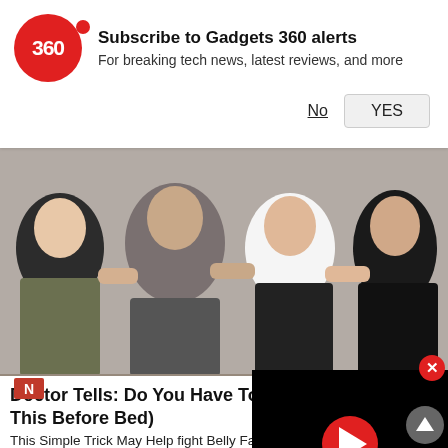Subscribe to Gadgets 360 alerts
For breaking tech news, latest reviews, and more
No  YES
[Figure (photo): Four women in athletic/fitness wear (sports bras and leggings) posing together smiling]
Doctor Tells: Do You Have Too Much ... This Before Bed)
This Simple Trick May Help fight Belly Fat (fo...
Gundry MD | Total Restore | Sponsored
[Figure (screenshot): Black video player overlay with red circular play button]
[Figure (photo): Bottom thumbnail row showing two video thumbnails with N news badge overlay]